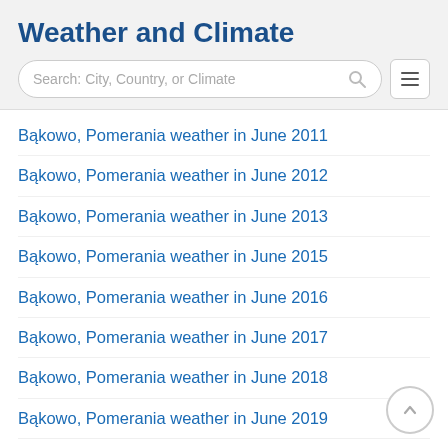Weather and Climate
Search: City, Country, or Climate
Bąkowo, Pomerania weather in June 2011
Bąkowo, Pomerania weather in June 2012
Bąkowo, Pomerania weather in June 2013
Bąkowo, Pomerania weather in June 2015
Bąkowo, Pomerania weather in June 2016
Bąkowo, Pomerania weather in June 2017
Bąkowo, Pomerania weather in June 2018
Bąkowo, Pomerania weather in June 2019
Bąkowo, Pomerania weather in June 2020